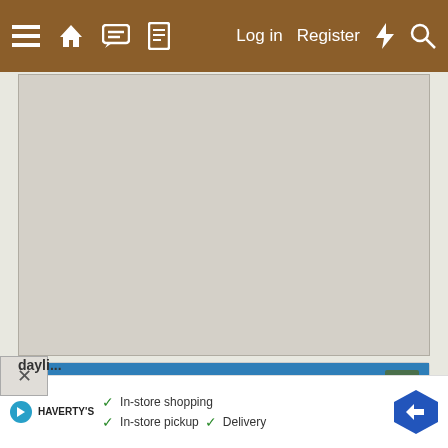Log in  Register
[Figure (other): Gray advertisement placeholder area]
Jan 3, 2012
BoltonChicken
Songster  8 Years
This ... rs of dayli...
[Figure (other): Havertys advertisement strip: In-store shopping, In-store pickup, Delivery]